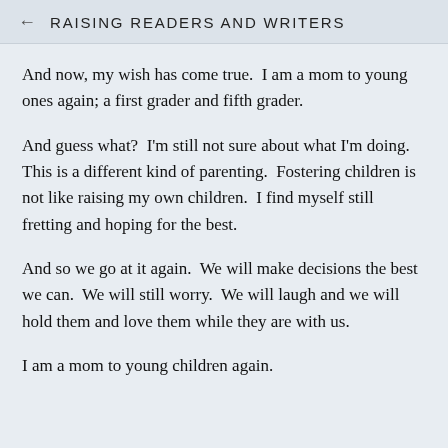RAISING READERS AND WRITERS
And now, my wish has come true.  I am a mom to young ones again; a first grader and fifth grader.
And guess what?  I'm still not sure about what I'm doing.  This is a different kind of parenting.  Fostering children is not like raising my own children.  I find myself still fretting and hoping for the best.
And so we go at it again.  We will make decisions the best we can.  We will still worry.  We will laugh and we will hold them and love them while they are with us.
I am a mom to young children again.